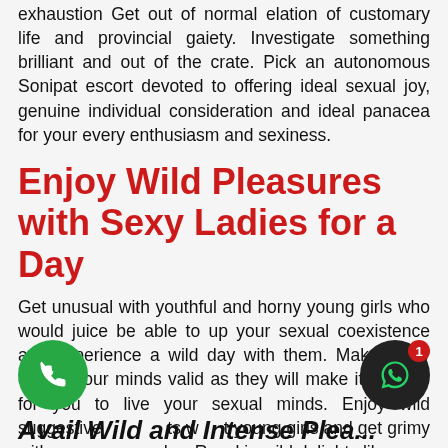exhaustion Get out of normal elation of customary life and provincial gaiety. Investigate something brilliant and out of the crate. Pick an autonomous Sonipat escort devoted to offering ideal sexual joy, genuine individual consideration and ideal panacea for your every enthusiasm and sexiness.
Enjoy Wild Pleasures with Sexy Ladies for a Day
Get unusual with youthful and horny young girls who would juice be able to up your sexual coexistence and experience a wild day with them. Make every one of your minds valid as they will make it feasible for you to live your sexual minds. Enjoy wild suggestive thoughts with hot young girls and get grimy with them for an entire day. Revel in wild delights like:
Avail Wild and Intense Pleasure